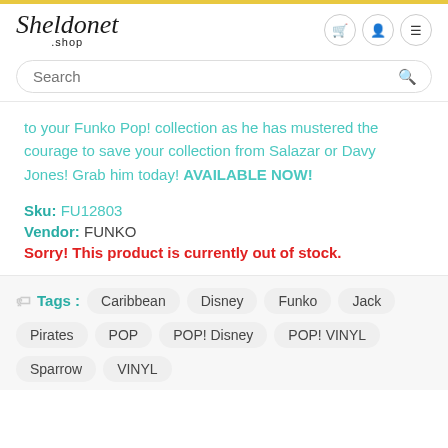[Figure (logo): Sheldonet .shop logo in italic script]
to your Funko Pop! collection as he has mustered the courage to save your collection from Salazar or Davy Jones! Grab him today! AVAILABLE NOW!
Sku: FU12803
Vendor: FUNKO
Sorry! This product is currently out of stock.
Tags: Caribbean Disney Funko Jack Pirates POP POP! Disney POP! VINYL Sparrow VINYL